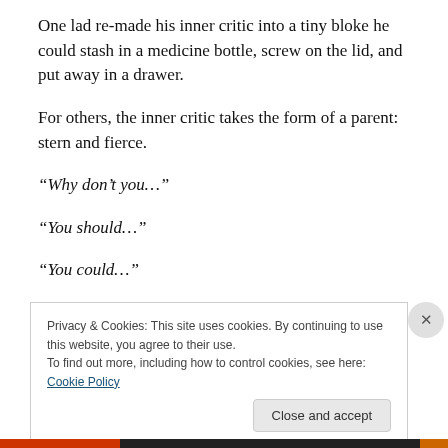One lad re-made his inner critic into a tiny bloke he could stash in a medicine bottle, screw on the lid, and put away in a drawer.
For others, the inner critic takes the form of a parent: stern and fierce.
“Why don’t you…”
“You should…”
“You could…”
Privacy & Cookies: This site uses cookies. By continuing to use this website, you agree to their use.
To find out more, including how to control cookies, see here: Cookie Policy